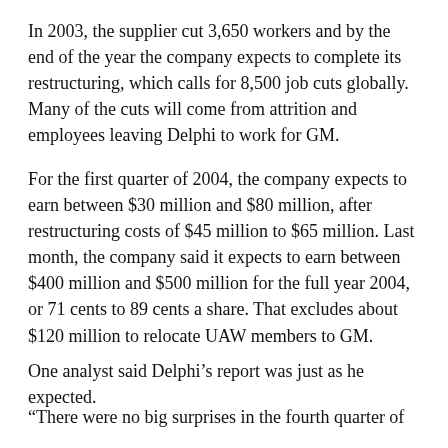In 2003, the supplier cut 3,650 workers and by the end of the year the company expects to complete its restructuring, which calls for 8,500 job cuts globally. Many of the cuts will come from attrition and employees leaving Delphi to work for GM.
For the first quarter of 2004, the company expects to earn between $30 million and $80 million, after restructuring costs of $45 million to $65 million. Last month, the company said it expects to earn between $400 million and $500 million for the full year 2004, or 71 cents to 89 cents a share. That excludes about $120 million to relocate UAW members to GM.
One analyst said Delphi’s report was just as he expected.
“There were no big surprises in the fourth quarter of